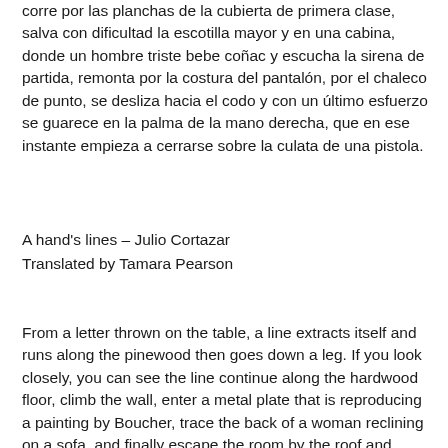corre por las planchas de la cubierta de primera clase, salva con dificultad la escotilla mayor y en una cabina, donde un hombre triste bebe coñac y escucha la sirena de partida, remonta por la costura del pantalón, por el chaleco de punto, se desliza hacia el codo y con un último esfuerzo se guarece en la palma de la mano derecha, que en ese instante empieza a cerrarse sobre la culata de una pistola.
A hand's lines – Julio Cortazar
Translated by Tamara Pearson
From a letter thrown on the table, a line extracts itself and runs along the pinewood then goes down a leg. If you look closely, you can see the line continue along the hardwood floor, climb the wall, enter a metal plate that is reproducing a painting by Boucher, trace the back of a woman reclining on a sofa, and finally escape the room by the roof and descend a chain of lightning rods to get to the street. It's difficult to follow it because of the traffic, but if you focus, you'll see it climbing the wheel of the bus parked on the corner that goes